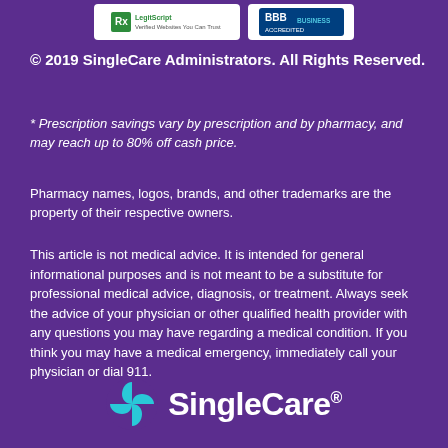[Figure (logo): Two trust badge logos at top: LegitScript Verified Pharmacy and BBB Accredited Business]
© 2019 SingleCare Administrators. All Rights Reserved.
* Prescription savings vary by prescription and by pharmacy, and may reach up to 80% off cash price.
Pharmacy names, logos, brands, and other trademarks are the property of their respective owners.
This article is not medical advice. It is intended for general informational purposes and is not meant to be a substitute for professional medical advice, diagnosis, or treatment. Always seek the advice of your physician or other qualified health provider with any questions you may have regarding a medical condition. If you think you may have a medical emergency, immediately call your physician or dial 911.
[Figure (logo): SingleCare logo with teal cross/compass icon and white SingleCare text with registered trademark symbol]